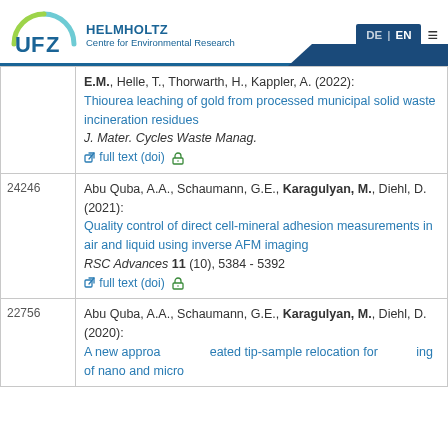UFZ Helmholtz Centre for Environmental Research
E.M., Helle, T., Thorwarth, H., Kappler, A. (2022): Thiourea leaching of gold from processed municipal solid waste incineration residues. J. Mater. Cycles Waste Manag. full text (doi)
24246 — Abu Quba, A.A., Schaumann, G.E., Karagulyan, M., Diehl, D. (2021): Quality control of direct cell-mineral adhesion measurements in air and liquid using inverse AFM imaging. RSC Advances 11 (10), 5384 - 5392 full text (doi)
22756 — Abu Quba, A.A., Schaumann, G.E., Karagulyan, M., Diehl, D. (2020): A new approa... eated tip-sample relocation for...ing of nano and micro